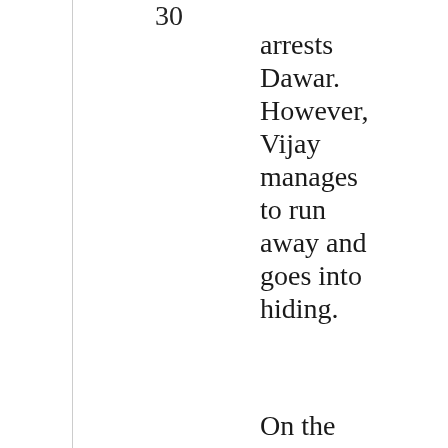30
arrests Dawar. However, Vijay manages to run away and goes into hiding.

On the other hand, Samant vows to avenge the loss